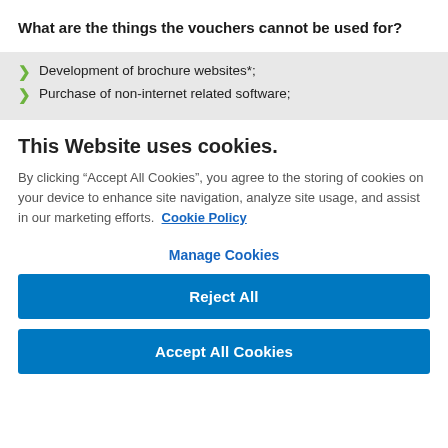What are the things the vouchers cannot be used for?
Development of brochure websites*;
Purchase of non-internet related software;
This Website uses cookies.
By clicking “Accept All Cookies”, you agree to the storing of cookies on your device to enhance site navigation, analyze site usage, and assist in our marketing efforts.  Cookie Policy
Manage Cookies
Reject All
Accept All Cookies